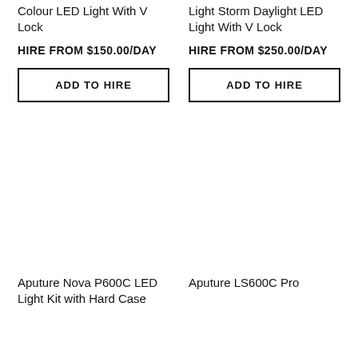Colour LED Light With V Lock
Light Storm Daylight LED Light With V Lock
HIRE FROM $150.00/DAY
HIRE FROM $250.00/DAY
ADD TO HIRE
ADD TO HIRE
Aputure Nova P600C LED Light Kit with Hard Case
Aputure LS600C Pro